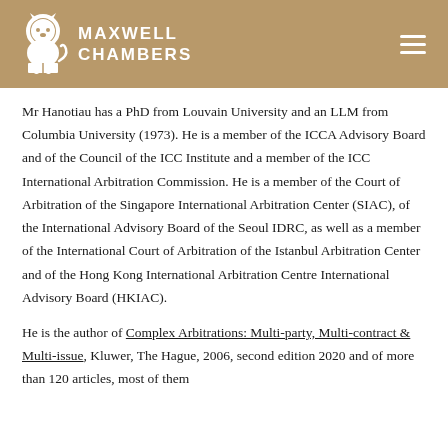MAXWELL CHAMBERS
Mr Hanotiau has a PhD from Louvain University and an LLM from Columbia University (1973). He is a member of the ICCA Advisory Board and of the Council of the ICC Institute and a member of the ICC International Arbitration Commission. He is a member of the Court of Arbitration of the Singapore International Arbitration Center (SIAC), of the International Advisory Board of the Seoul IDRC, as well as a member of the International Court of Arbitration of the Istanbul Arbitration Center and of the Hong Kong International Arbitration Centre International Advisory Board (HKIAC).
He is the author of Complex Arbitrations: Multi-party, Multi-contract & Multi-issue, Kluwer, The Hague, 2006, second edition 2020 and of more than 120 articles, most of them